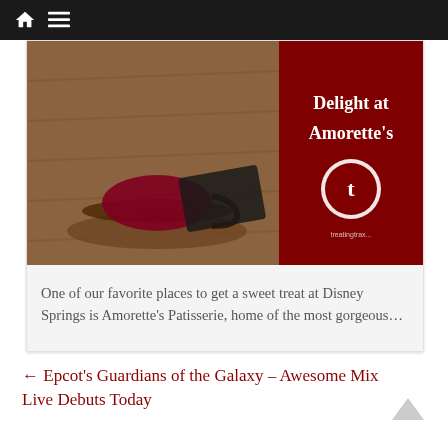Navigation bar with home and menu icons
[Figure (photo): Promotional image for Amorette's Patisserie at Disney Springs showing pastries on a wooden surface with dark red overlay and text 'Delight at Amorette's' with a circular T logo]
One of our favorite places to get a sweet treat at Disney Springs is Amorette's Patisserie, home of the most gorgeous…
← Epcot's Guardians of the Galaxy – Awesome Mix Live Debuts Today